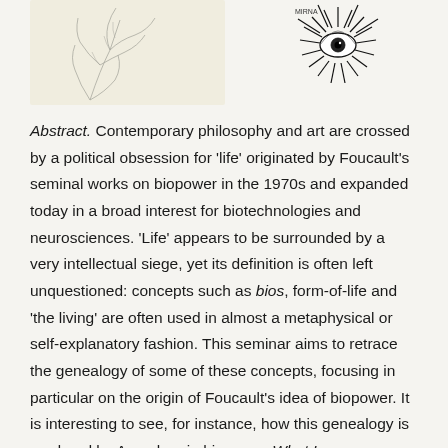[Figure (illustration): Two illustrations: left side shows a hand-drawn sketch of a hand or plant-like form on a light background; right side shows a detailed black and white drawing of an eye with radiating eyelashes/lines.]
Abstract. Contemporary philosophy and art are crossed by a political obsession for 'life' originated by Foucault's seminal works on biopower in the 1970s and expanded today in a broad interest for biotechnologies and neurosciences. 'Life' appears to be surrounded by a very intellectual siege, yet its definition is often left unquestioned: concepts such as bios, form-of-life and 'the living' are often used in almost a metaphysical or self-explanatory fashion. This seminar aims to retrace the genealogy of some of these concepts, focusing in particular on the origin of Foucault's idea of biopower. It is interesting to see, for instance, how this genealogy is rendered by Agamben in his essay What Is an Apparatus? that inscribes Foucault under the crypto-theological influence of Hegel and Hyppolite. Contra Agamben, it will